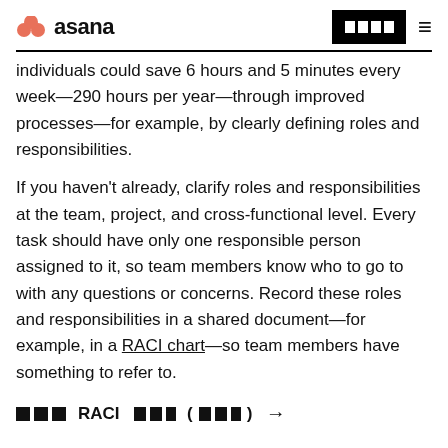asana
individuals could save 6 hours and 5 minutes every week—290 hours per year—through improved processes—for example, by clearly defining roles and responsibilities.
If you haven't already, clarify roles and responsibilities at the team, project, and cross-functional level. Every task should have only one responsible person assigned to it, so team members know who to go to with any questions or concerns. Record these roles and responsibilities in a shared document—for example, in a RACI chart—so team members have something to refer to.
▶▶▶RACI ▶▶▶ (▶▶▶) →